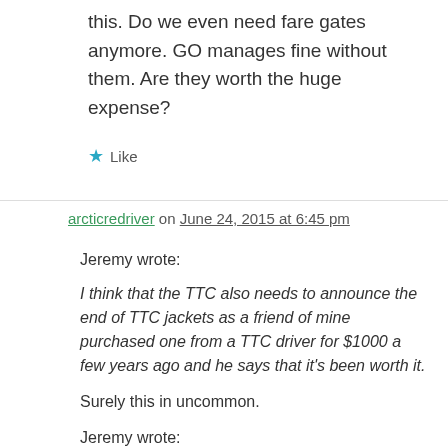this. Do we even need fare gates anymore. GO manages fine without them. Are they worth the huge expense?
★ Like
arcticredriver on June 24, 2015 at 6:45 pm
Jeremy wrote:
I think that the TTC also needs to announce the end of TTC jackets as a friend of mine purchased one from a TTC driver for $1000 a few years ago and he says that it's been worth it.
Surely this in uncommon.
Jeremy wrote: